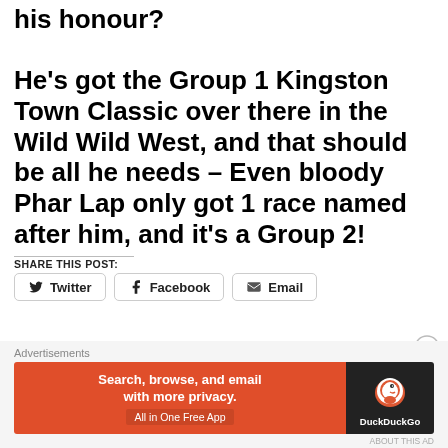his honour? He's got the Group 1 Kingston Town Classic over there in the Wild Wild West, and that should be all he needs – Even bloody Phar Lap only got 1 race named after him, and it's a Group 2!
SHARE THIS POST:
[Figure (screenshot): Share buttons: Twitter, Facebook, Email]
[Figure (screenshot): DuckDuckGo advertisement banner: Search, browse, and email with more privacy. All in One Free App.]
Advertisements